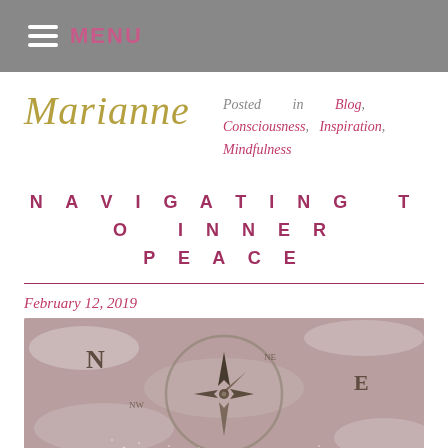MENU
Marianne
Posted in Blog, Consciousness, Inspiration, Mindfulness
NAVIGATING TO INNER PEACE
February 12, 2019
[Figure (photo): Close-up photo of an antique compass face showing directional markings N and E, with a compass needle/pointer and frosted or icy texture on the surface.]